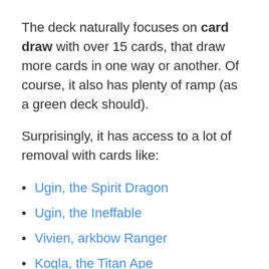The deck naturally focuses on card draw with over 15 cards, that draw more cards in one way or another. Of course, it also has plenty of ramp (as a green deck should).
Surprisingly, it has access to a lot of removal with cards like:
Ugin, the Spirit Dragon
Ugin, the Ineffable
Vivien, arkbow Ranger
Kogla, the Titan Ape
If you like a Brawl deck with both card advantage and good creatures, you can't go wrong with Jolrael.